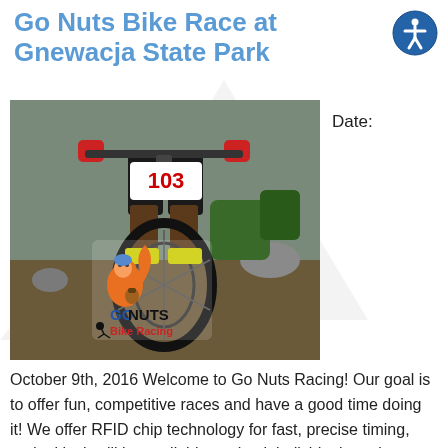Go Nuts Bike Race at Gnewacja State Park
[Figure (photo): Mountain biker racing with number 103 on bike, Go Nuts Bike Racing logo overlay]
Date:
October 9th, 2016 Welcome to Go Nuts Racing! Our goal is to offer fun, competitive races and have a good time doing it! We offer RFID chip technology for fast, precise timing, and a kiosk will be available to check individual results at the conclusion of each race! Each adult racer will